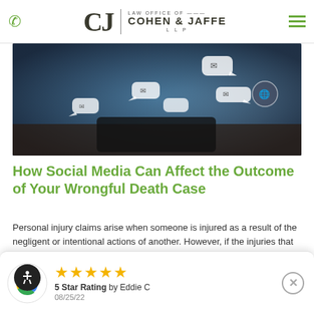Law Office of Cohen & Jaffe LLP
[Figure (photo): Blurred background with floating social media chat bubble icons and smartphone, representing social media activity.]
How Social Media Can Affect the Outcome of Your Wrongful Death Case
Personal injury claims arise when someone is injured as a result of the negligent or intentional actions of another. However, if the injuries that are sustained are fatal, then the victim's family
[Figure (infographic): Google review card showing 5 star rating by Eddie C dated 08/25/22, with Google logo and accessibility icon.]